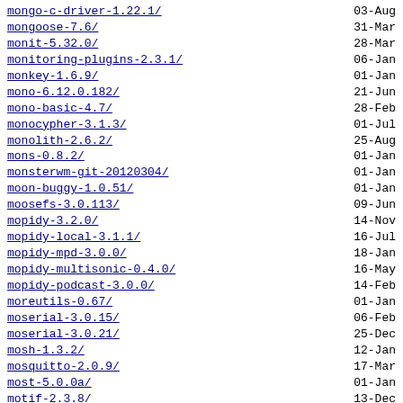mongo-c-driver-1.22.1/ 03-Aug
mongoose-7.6/ 31-Mar
monit-5.32.0/ 28-Mar
monitoring-plugins-2.3.1/ 06-Jan
monkey-1.6.9/ 01-Jan
mono-6.12.0.182/ 21-Jun
mono-basic-4.7/ 28-Feb
monocypher-3.1.3/ 01-Jul
monolith-2.6.2/ 25-Aug
mons-0.8.2/ 01-Jan
monsterwm-git-20120304/ 01-Jan
moon-buggy-1.0.51/ 01-Jan
moosefs-3.0.113/ 09-Jun
mopidy-3.2.0/ 14-Nov
mopidy-local-3.1.1/ 16-Jul
mopidy-mpd-3.0.0/ 18-Jan
mopidy-multisonic-0.4.0/ 16-May
mopidy-podcast-3.0.0/ 14-Feb
moreutils-0.67/ 01-Jan
moserial-3.0.15/ 06-Feb
moserial-3.0.21/ 25-Dec
mosh-1.3.2/ 12-Jan
mosquitto-2.0.9/ 17-Mar
most-5.0.0a/ 01-Jan
motif-2.3.8/ 13-Dec
motion-4.4.0/ 30-Oct
mountain-backup-0.2.0/ 10-Apr
mouseemu-0.15/ 09-Feb
mousepad-0.5.10/ 13-Jul
mousetweaks-3.32.0/ 12-Mar